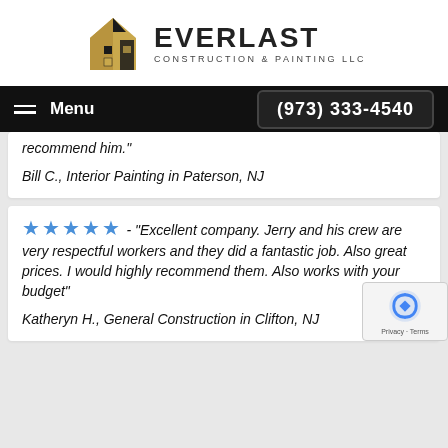[Figure (logo): Everlast Construction & Painting LLC logo with a stylized building icon in gold and black, and bold text EVERLAST with subtitle CONSTRUCTION & PAINTING LLC]
Menu  (973) 333-4540
recommend him."
Bill C., Interior Painting in Paterson, NJ
★★★★★ - "Excellent company. Jerry and his crew are very respectful workers and they did a fantastic job. Also great prices. I would highly recommend them. Also works with your budget"
Katheryn H., General Construction in Clifton, NJ